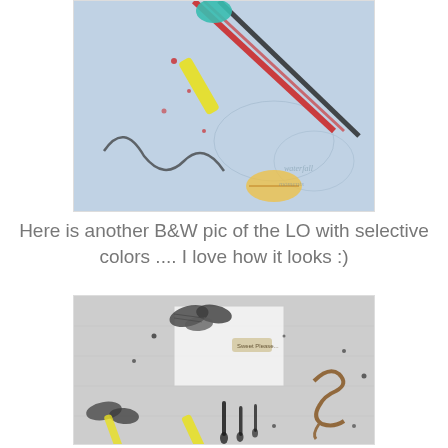[Figure (photo): Close-up colorful craft/scrapbooking layout with turquoise embellishments, red and black ribbon stripes, yellow and pink flowers, buttons, and decorative elements on a light blue textured background.]
Here is another B&W pic of the LO with selective colors .... I love how it looks :)
[Figure (photo): Black and white photo of a scrapbooking layout with selective color accents (yellow and brown). Features butterflies, white daisies, a decorative brown flourish, and ink drips on a grey textured background.]